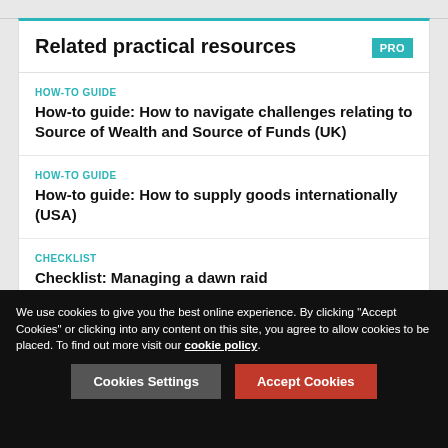Related practical resources
HOW-TO GUIDE
How-to guide: How to navigate challenges relating to Source of Wealth and Source of Funds (UK)
HOW-TO GUIDE
How-to guide: How to supply goods internationally (USA)
CHECKLIST
Checklist: Managing a dawn raid
We use cookies to give you the best online experience. By clicking "Accept Cookies" or clicking into any content on this site, you agree to allow cookies to be placed. To find out more visit our cookie policy
Cookies Settings
Accept Cookies